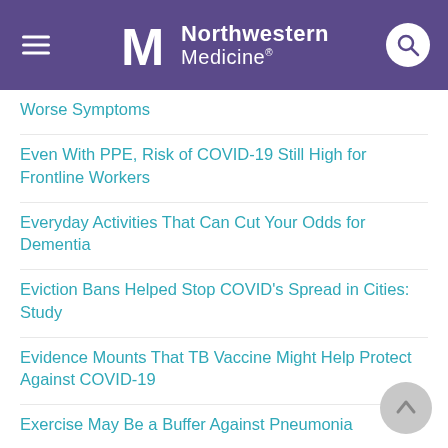Northwestern Medicine
Worse Symptoms
Even With PPE, Risk of COVID-19 Still High for Frontline Workers
Everyday Activities That Can Cut Your Odds for Dementia
Eviction Bans Helped Stop COVID's Spread in Cities: Study
Evidence Mounts That TB Vaccine Might Help Protect Against COVID-19
Exercise May Be a Buffer Against Pneumonia
Exercise, Puzzles, Games: They Help Men's, Women's Brains Differently
Exhaled 'Aerosols' Spread Coronavirus Up to 13